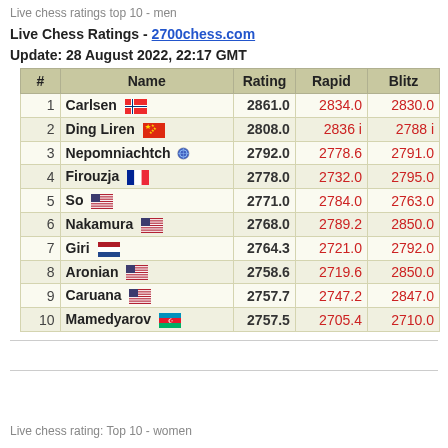Live chess ratings top 10 - men
Live Chess Ratings - 2700chess.com
Update: 28 August 2022, 22:17 GMT
| # | Name |  | Rating | Rapid | Blitz |
| --- | --- | --- | --- | --- | --- |
| 1 | Carlsen | 🇳🇴 | 2861.0 | 2834.0 | 2830.0 |
| 2 | Ding Liren | 🇨🇳 | 2808.0 | 2836 i | 2788 i |
| 3 | Nepomniachtch | 🌐 | 2792.0 | 2778.6 | 2791.0 |
| 4 | Firouzja | 🇫🇷 | 2778.0 | 2732.0 | 2795.0 |
| 5 | So | 🇺🇸 | 2771.0 | 2784.0 | 2763.0 |
| 6 | Nakamura | 🇺🇸 | 2768.0 | 2789.2 | 2850.0 |
| 7 | Giri | 🇳🇱 | 2764.3 | 2721.0 | 2792.0 |
| 8 | Aronian | 🇺🇸 | 2758.6 | 2719.6 | 2850.0 |
| 9 | Caruana | 🇺🇸 | 2757.7 | 2747.2 | 2847.0 |
| 10 | Mamedyarov | 🇦🇿 | 2757.5 | 2705.4 | 2710.0 |
Live chess rating: Top 10 - women